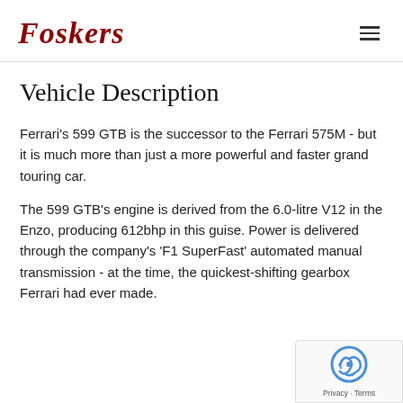Foskers
Vehicle Description
Ferrari's 599 GTB is the successor to the Ferrari 575M - but it is much more than just a more powerful and faster grand touring car.
The 599 GTB's engine is derived from the 6.0-litre V12 in the Enzo, producing 612bhp in this guise. Power is delivered through the company's 'F1 SuperFast' automated manual transmission - at the time, the quickest-shifting gearbox Ferrari had ever made.